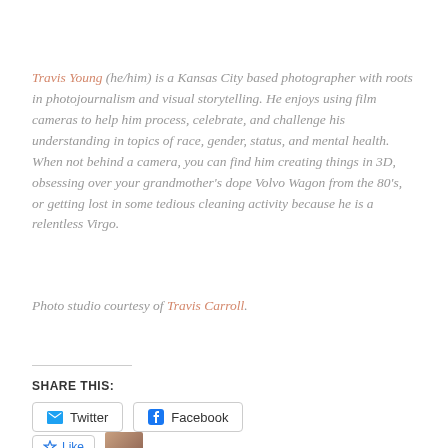Travis Young (he/him) is a Kansas City based photographer with roots in photojournalism and visual storytelling. He enjoys using film cameras to help him process, celebrate, and challenge his understanding in topics of race, gender, status, and mental health. When not behind a camera, you can find him creating things in 3D, obsessing over your grandmother's dope Volvo Wagon from the 80's, or getting lost in some tedious cleaning activity because he is a relentless Virgo.
Photo studio courtesy of Travis Carroll.
SHARE THIS: